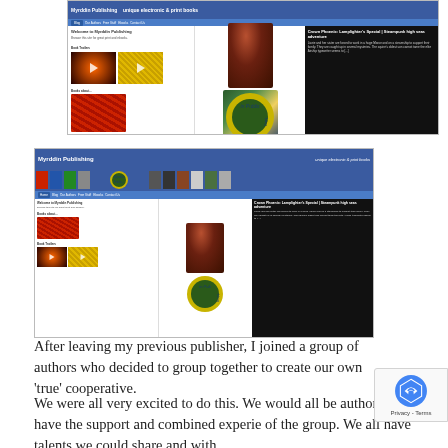[Figure (screenshot): Screenshot of Myrddin Publishing website top view, showing navigation bar, book covers, and a featured book with dark background panel]
[Figure (screenshot): Screenshot of Myrddin Publishing website larger view showing full header with blue navigation bar, book strip, menu items, and same layout as above]
After leaving my previous publisher, I joined a group of authors who decided to group together to create our own ‘true’ cooperative. We were all very excited to do this. We would all be authors but have the support and combined experience of the group. We all have talents we could share and with